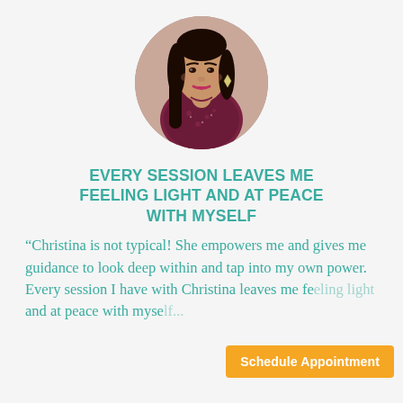[Figure (photo): Circular portrait photo of a woman with long dark hair, wearing a dark floral top and diamond earrings, on a mauve/brown background]
EVERY SESSION LEAVES ME FEELING LIGHT AND AT PEACE WITH MYSELF
“Christina is not typical! She empowers me and gives me guidance to look deep within and tap into my own power. Every session I have with Christina leaves me fe... and at peace with myself...
Schedule Appointment